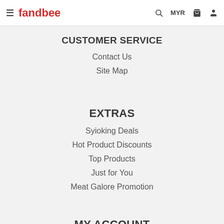≡ fandbee  🔍  MYR  🛒  👤
CUSTOMER SERVICE
Contact Us
Site Map
EXTRAS
Syioking Deals
Hot Product Discounts
Top Products
Just for You
Meat Galore Promotion
MY ACCOUNT
My Account
Order History